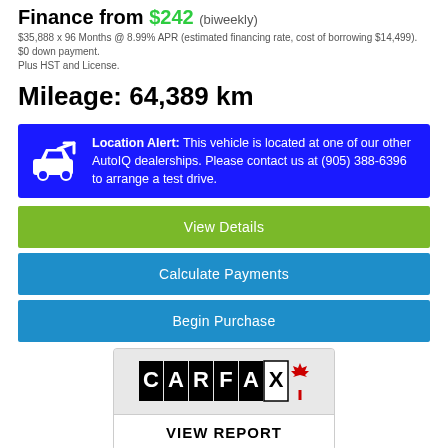Finance from $242 (biweekly)
$35,888 x 96 Months @ 8.99% APR (estimated financing rate, cost of borrowing $14,499). $0 down payment.
Plus HST and License.
Mileage: 64,389 km
Location Alert: This vehicle is located at one of our other AutoIQ dealerships. Please contact us at (905) 388-6396 to arrange a test drive.
View Details
Calculate Payments
Begin Purchase
[Figure (logo): CARFAX Canada logo with red maple leaf]
VIEW REPORT
| Body Style: | SUV |
| Engine: | 2.4L 4cyl |